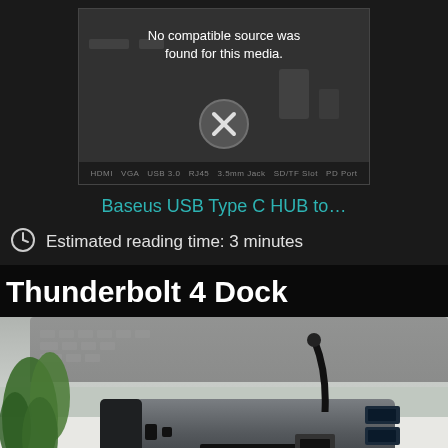[Figure (screenshot): Video player showing error: No compatible source was found for this media. With an X icon. Below the video player shows labels: HDMI, VGA, USB 3.0, RJ45, 3.5mm Jack, SD/TF Slot, PD Port]
Baseus USB Type C HUB to...
Estimated reading time: 3 minutes
Thunderbolt 4 Dock
[Figure (photo): Photo of a Thunderbolt 4 Dock (docking station) in gray/black aluminum on a white desk surface, with a green plant visible at left, and a laptop keyboard visible at top. Dock shows USB 3.0 ports, Ethernet port, and other ports on the front/side.]